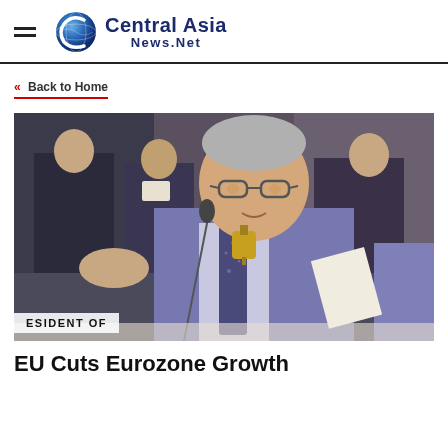Central Asia News.Net
« Back to Home
[Figure (photo): An older man in a blue suit holding a small brass bell at a conference table; a nameplate reading 'ESIDENT OF' is visible in the foreground.]
EU Cuts Eurozone Growth